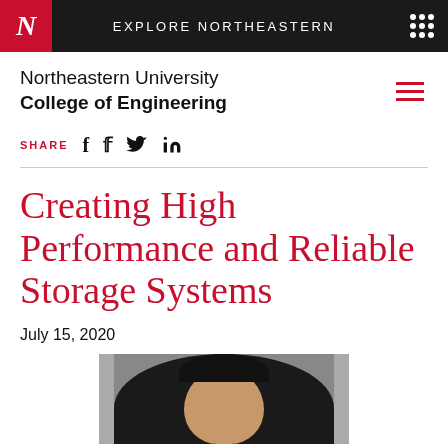N  EXPLORE NORTHEASTERN
Northeastern University College of Engineering
SHARE
Creating High Performance and Reliable Storage Systems
July 15, 2020
[Figure (photo): Headshot photo of a person with dark hair, partially visible, cropped at bottom of page]